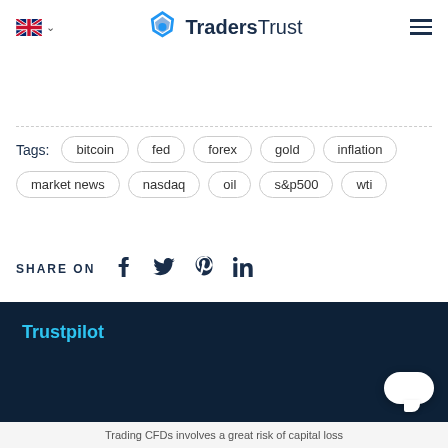TradersTrust
Tags: bitcoin | fed | forex | gold | inflation | market news | nasdaq | oil | s&p500 | wti
SHARE ON
[Figure (logo): Trustpilot logo text in cyan on dark background]
Trading CFDs involves a great risk of capital loss